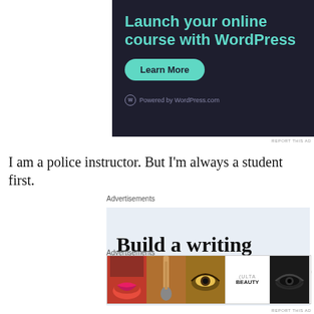[Figure (screenshot): Dark navy advertisement banner with teal heading 'Launch your online course with WordPress', a teal 'Learn More' rounded button, and 'Powered by WordPress.com' footer text with WordPress logo]
REPORT THIS AD
I am a police instructor. But I'm always a student first.
Advertisements
[Figure (screenshot): Light blue advertisement with large serif text 'Build a writing habit. Post on']
[Figure (screenshot): ULTA Beauty advertisement banner with makeup/beauty photos and 'SHOP NOW' call to action]
Advertisements
REPORT THIS AD